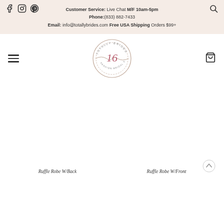Customer Service: Live Chat M/F 10am-5pm Phone:(833) 882-7433 Email: info@totallybrides.com Free USA Shipping Orders $99+
[Figure (logo): Totally Brides circular logo with '16' in script lettering and text around the circle border]
Ruffle Robe W/Back
Ruffle Robe W/Front